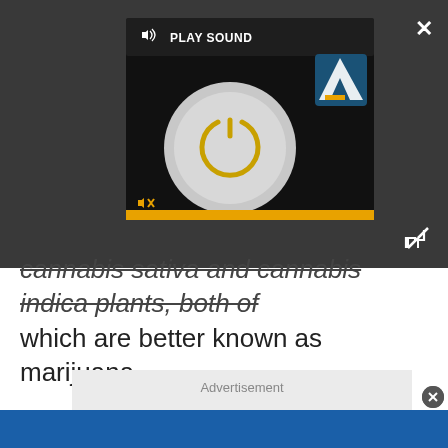[Figure (screenshot): Media player overlay with play sound button, circular power icon, LS logo, mute button, and yellow progress bar on dark background]
cannabis sativa and cannabis indica plants, both of which are better known as marijuana.
[Figure (screenshot): Advertisement placeholder box with gray background and 'Advertisement' label]